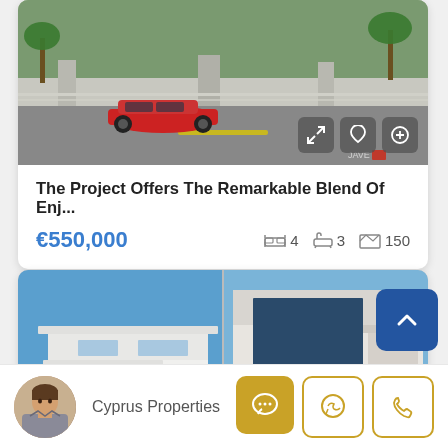[Figure (photo): Architectural rendering of a modern residential development with a red sports car in the foreground, lush greenery and fencing in the background.]
The Project Offers The Remarkable Blend Of Enj...
€550,000   🛏 4   🛁 3   📐 150
[Figure (photo): Modern white villa with flat rooflines under a clear blue sky, shown as a split two-image collage.]
Cyprus Properties